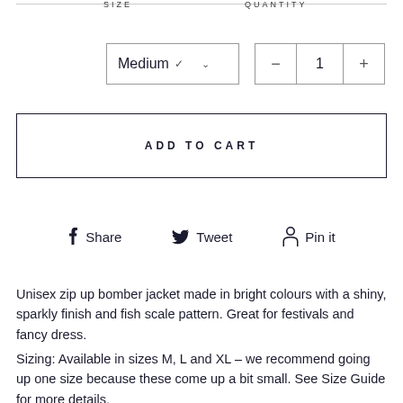SIZE   QUANTITY
[Figure (screenshot): E-commerce product controls: size dropdown showing 'Medium' with chevron, and quantity selector showing '-  1  +']
ADD TO CART
f Share   Tweet   Pin it
Unisex zip up bomber jacket made in bright colours with a shiny, sparkly finish and fish scale pattern. Great for festivals and fancy dress.
Sizing: Available in sizes M, L and XL - we recommend going up one size because these come up a bit small. See Size Guide for more details.